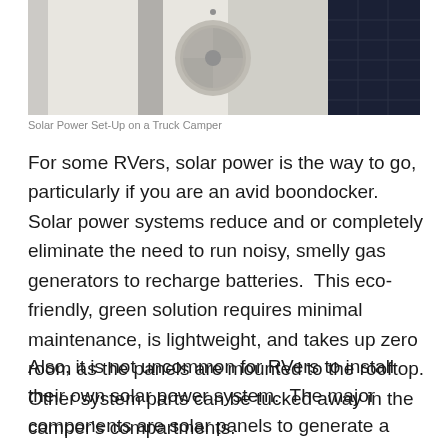[Figure (photo): Solar power set-up on a truck camper rooftop, showing solar panels on the right and a roof AC unit in the center, viewed from above.]
Solar Power Set-Up on a Truck Camper
For some RVers, solar power is the way to go, particularly if you are an avid boondocker. Solar power systems reduce and or completely eliminate the need to run noisy, smelly gas generators to recharge batteries. This eco-friendly, green solution requires minimal maintenance, is lightweight, and takes up zero room as the panels are mounted to the rooftop. Other system parts can be tucked away in the camper's compartments.
Also, it is not uncommon for RVers to install their own solar power system. The major components are solar panels to generate a charging current, a charge controller to regulate that charging current, and one or more deep